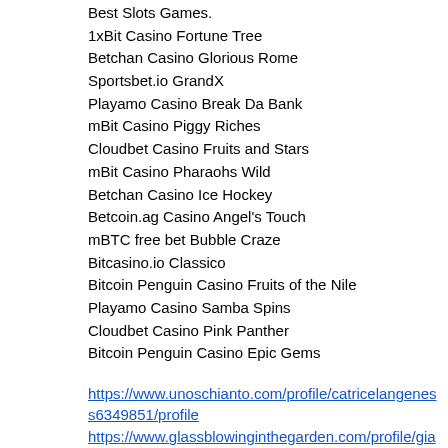Best Slots Games.
1xBit Casino Fortune Tree
Betchan Casino Glorious Rome
Sportsbet.io GrandX
Playamo Casino Break Da Bank
mBit Casino Piggy Riches
Cloudbet Casino Fruits and Stars
mBit Casino Pharaohs Wild
Betchan Casino Ice Hockey
Betcoin.ag Casino Angel's Touch
mBTC free bet Bubble Craze
Bitcasino.io Classico
Bitcoin Penguin Casino Fruits of the Nile
Playamo Casino Samba Spins
Cloudbet Casino Pink Panther
Bitcoin Penguin Casino Epic Gems
https://www.unoschianto.com/profile/catricelangeness6349851/profile
https://www.glassblowinginthegarden.com/profile/giagonterman7151536/profile
https://www.brincerestaurant.com/profile/wad